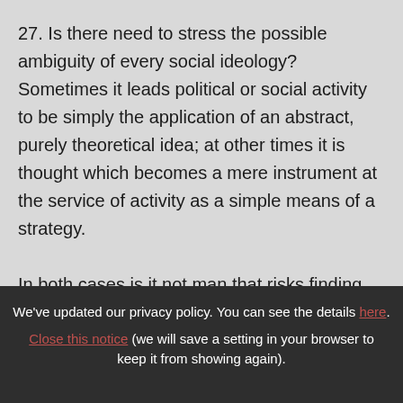27. Is there need to stress the possible ambiguity of every social ideology? Sometimes it leads political or social activity to be simply the application of an abstract, purely theoretical idea; at other times it is thought which becomes a mere instrument at the service of activity as a simple means of a strategy.

In both cases is it not man that risks finding
We've updated our privacy policy. You can see the details here. Close this notice (we will save a setting in your browser to keep it from showing again).